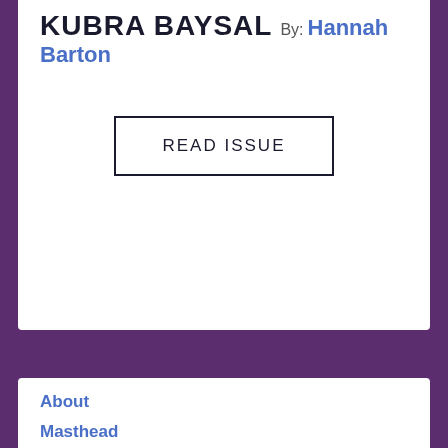KUBRA BAYSAL By: Hannah Barton
READ ISSUE
About
Masthead